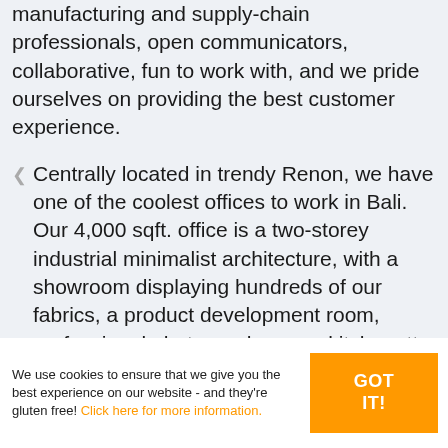manufacturing and supply-chain professionals, open communicators, collaborative, fun to work with, and we pride ourselves on providing the best customer experience.
Centrally located in trendy Renon, we have one of the coolest offices to work in Bali. Our 4,000 sqft. office is a two-storey industrial minimalist architecture, with a showroom displaying hundreds of our fabrics, a product development room, professional photography area, kitchenette, private parking, only
We use cookies to ensure that we give you the best experience on our website - and they're gluten free! Click here for more information.